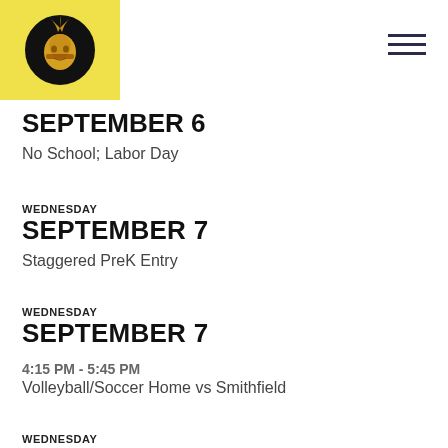School logo and navigation header
SEPTEMBER 6
No School; Labor Day
WEDNESDAY SEPTEMBER 7
Staggered PreK Entry
WEDNESDAY SEPTEMBER 7
4:15 PM - 5:45 PM
Volleyball/Soccer Home vs Smithfield
WEDNESDAY SEPTEMBER 7
6:00 PM - 7:15 PM
Kindergarten Orientation
WEDNESDAY